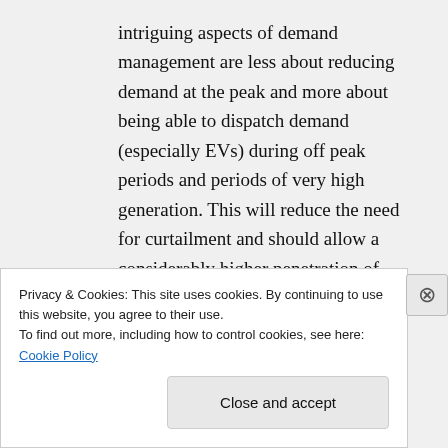intriguing aspects of demand management are less about reducing demand at the peak and more about being able to dispatch demand (especially EVs) during off peak periods and periods of very high generation. This will reduce the need for curtailment and should allow a considerably higher penetration of variable sources than
Privacy & Cookies: This site uses cookies. By continuing to use this website, you agree to their use.
To find out more, including how to control cookies, see here: Cookie Policy